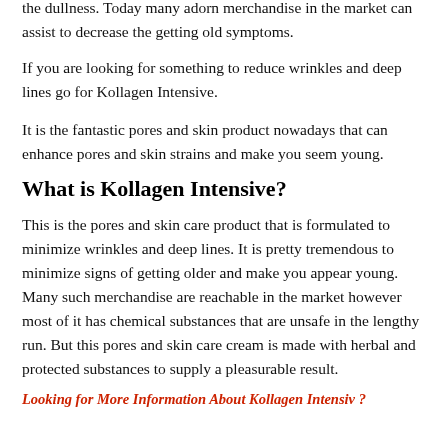end result in the dullness. Today many adorn merchandise in the market can assist to decrease the getting old symptoms.
If you are looking for something to reduce wrinkles and deep lines go for Kollagen Intensive.
It is the fantastic pores and skin product nowadays that can enhance pores and skin strains and make you seem young.
What is Kollagen Intensive?
This is the pores and skin care product that is formulated to minimize wrinkles and deep lines. It is pretty tremendous to minimize signs of getting older and make you appear young. Many such merchandise are reachable in the market however most of it has chemical substances that are unsafe in the lengthy run. But this pores and skin care cream is made with herbal and protected substances to supply a pleasurable result.
Looking for More Information About Kollagen Intensiv ?